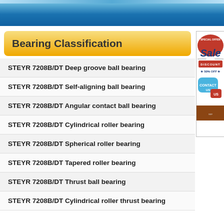Bearing Classification
STEYR 7208B/DT Deep groove ball bearing
STEYR 7208B/DT Self-aligning ball bearing
STEYR 7208B/DT Angular contact ball bearing
STEYR 7208B/DT Cylindrical roller bearing
STEYR 7208B/DT Spherical roller bearing
STEYR 7208B/DT Tapered roller bearing
STEYR 7208B/DT Thrust ball bearing
STEYR 7208B/DT Cylindrical roller thrust bearing
[Figure (infographic): Special Offer Sale Discount 50% Off advertisement banner with red and blue design]
[Figure (infographic): Contact Us speech bubble graphic in blue and red]
NACHI NU2217E Bearing